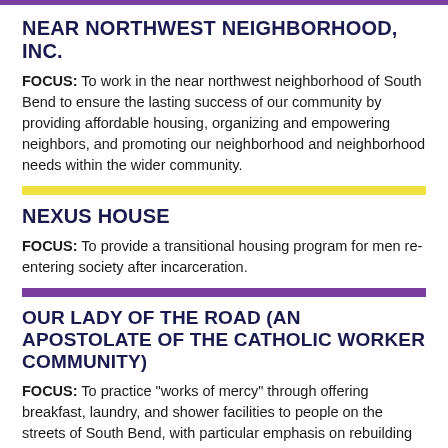NEAR NORTHWEST NEIGHBORHOOD, INC.
FOCUS: To work in the near northwest neighborhood of South Bend to ensure the lasting success of our community by providing affordable housing, organizing and empowering neighbors, and promoting our neighborhood and neighborhood needs within the wider community.
NEXUS HOUSE
FOCUS: To provide a transitional housing program for men re-entering society after incarceration.
OUR LADY OF THE ROAD (AN APOSTOLATE OF THE CATHOLIC WORKER COMMUNITY)
FOCUS: To practice "works of mercy" through offering breakfast, laundry, and shower facilities to people on the streets of South Bend, with particular emphasis on rebuilding relationships in the South Bend community across divisions of race, class, and gender. Also home to Common Goods Co-Operative Grocery (CGCG), which seeks to build relationships between local growers and urban residents to make healthy food available at affordable prices to…